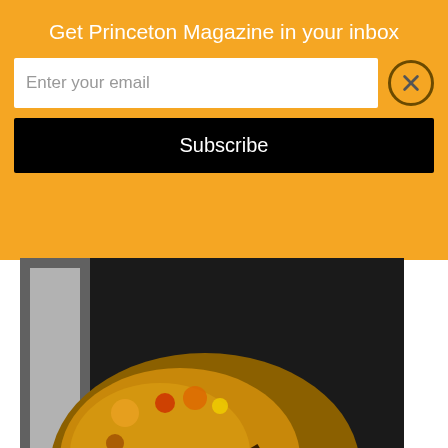Get Princeton Magazine in your inbox
Enter your email
Subscribe
[Figure (photo): Artist holding a painter's palette with colorful oil paints, with text overlay 'The World of Gennady Spirin' in decorative lettering]
HOLIDAY 2018
[Figure (photo): Princeton Magazine cover, Fall 2018 issue, blue background with white PRINCETON lettering, subtitle MAGAZINE, mentions Penn Medicine Princeton Medical Center, A Community Hospital Morphs]